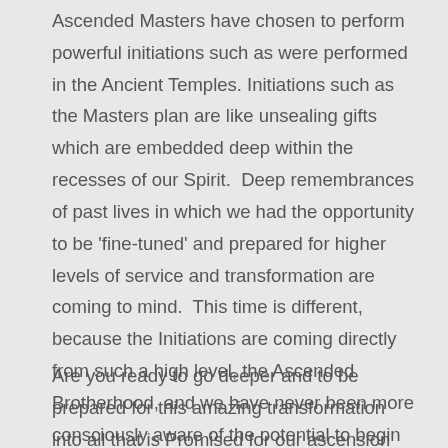Ascended Masters have chosen to perform powerful initiations such as were performed in the Ancient Temples. Initiations such as the Masters plan are like unsealing gifts which are embedded deep within the recesses of our Spirit.  Deep remembrances of past lives in which we had the opportunity to be 'fine-tuned' and prepared for higher levels of service and transformation are coming to mind.  This time is different, because the Initiations are coming directly from such a high level, the Ascended Brotherhood, and we have never been more consciously aware of the potential to begin the journey in the dimensions of Ascended consciousness.
Are you ready to go deeper and to be prepared for this amazing transformation into all that is Promised for our ascension and for that of our planet?  Please read the invitation from Ascended Masters Tsen Tsing and Serapis